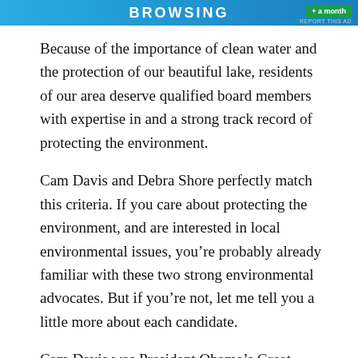BROWSING
Because of the importance of clean water and the protection of our beautiful lake, residents of our area deserve qualified board members with expertise in and a strong track record of protecting the environment.
Cam Davis and Debra Shore perfectly match this criteria. If you care about protecting the environment, and are interested in local environmental issues, you’re probably already familiar with these two strong environmental advocates. But if you’re not, let me tell you a little more about each candidate.
Cam Davis was President Obama’s Great Lakes point person and President & CEO of the Alliance for the Great Lakes. In its endorsement, the Chicago Tribune called him “one of the most qualified candidates ever to seek office at this agency.” I could list more of his credentials, but to suggest that you visit his website...